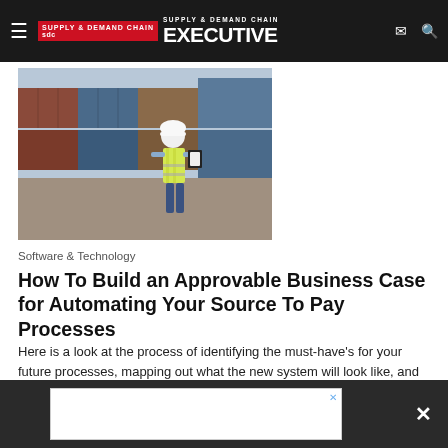Supply & Demand Chain Executive
[Figure (photo): Worker in yellow safety vest and white hard hat holding a clipboard at a shipping container yard]
Software & Technology
How To Build an Approvable Business Case for Automating Your Source To Pay Processes
Here is a look at the process of identifying the must-have's for your future processes, mapping out what the new system will look like, and then designing an achievable road-map for implementing the...
Valta Technology Group (Valtatech)    August 19, 2022
[Figure (other): Advertisement banner at bottom of page]